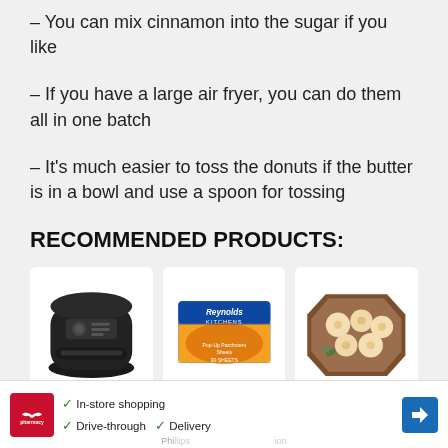– You can mix cinnamon into the sugar if you like
– If you have a large air fryer, you can do them all in one batch
– It's much easier to toss the donuts if the butter is in a bowl and use a spoon for tossing
RECOMMENDED PRODUCTS:
[Figure (photo): Black Philips air fryer product image on white card]
[Figure (photo): Reynolds Kitchens Pop-Up Parchment Sheets box product image on white card]
[Figure (photo): Wooden octagonal board with round baked donuts/biscuits on white card]
[Figure (other): CVS Pharmacy advertisement banner with In-store shopping, Drive-through, and Delivery checkmarks and navigation arrow]